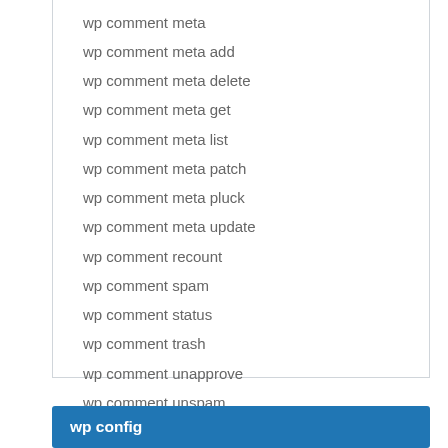wp comment meta
wp comment meta add
wp comment meta delete
wp comment meta get
wp comment meta list
wp comment meta patch
wp comment meta pluck
wp comment meta update
wp comment recount
wp comment spam
wp comment status
wp comment trash
wp comment unapprove
wp comment unspam
wp comment untrash
wp comment update
wp config